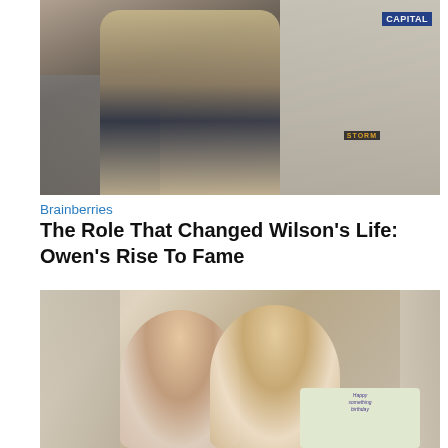[Figure (photo): Man with long blonde hair in a beige blazer holding a cardboard item at what appears to be an outdoor event or premiere, with a crowd of people behind barriers on the left and city buildings including a CAPITAL sign and STORM storefront visible in the background.]
Brainberries
The Role That Changed Wilson's Life: Owen's Rise To Fame
[Figure (photo): Two young women smiling and posing together indoors, one with brunette hair wearing a colorful scarf and the other with blonde wavy hair, holding what appears to be a decorated cake with text on it.]